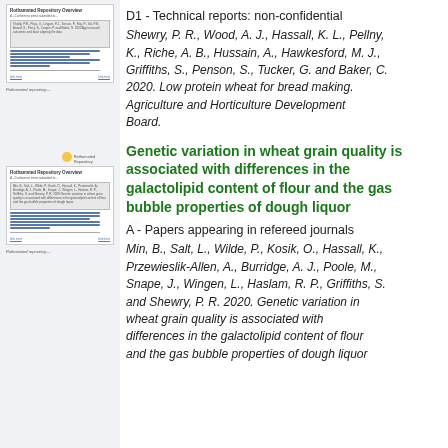[Figure (screenshot): Thumbnail of a document page showing a research repository overview with a small document preview, text lines, and blue hyperlinks]
D1 - Technical reports: non-confidential
Shewry, P. R., Wood, A. J., Hassall, K. L., Pellny, K., Riche, A. B., Hussain, A., Hawkesford, M. J., Griffiths, S., Penson, S., Tucker, G. and Baker, C. 2020. Low protein wheat for bread making. Agriculture and Horticulture Development Board.
[Figure (screenshot): Second thumbnail of a document page showing a research repository overview with a small document preview, text lines, and blue hyperlinks]
Genetic variation in wheat grain quality is associated with differences in the galactolipid content of flour and the gas bubble properties of dough liquor
A - Papers appearing in refereed journals
Min, B., Salt, L., Wilde, P., Kosik, O., Hassall, K., Przewieslik-Allen, A., Burridge, A. J., Poole, M., Snape, J., Wingen, L., Haslam, R. P., Griffiths, S. and Shewry, P. R. 2020. Genetic variation in wheat grain quality is associated with differences in the galactolipid content of flour and the gas bubble properties of dough liquor